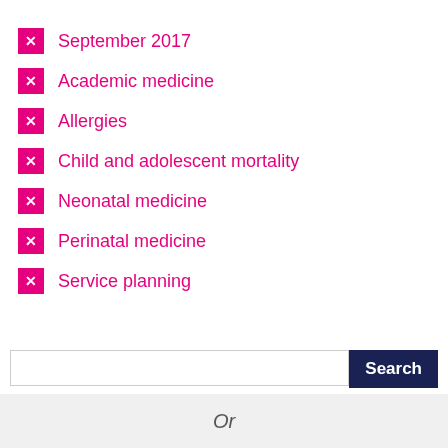September 2017
Academic medicine
Allergies
Child and adolescent mortality
Neonatal medicine
Perinatal medicine
Service planning
Or